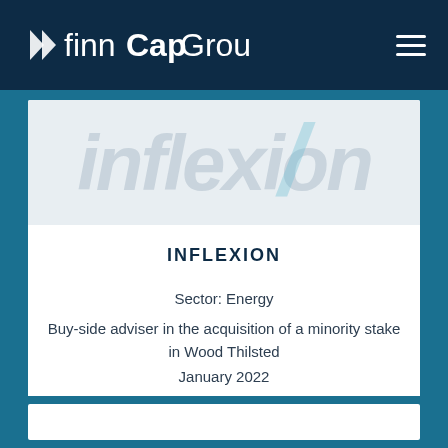finnCap Group
[Figure (illustration): Inflexion watermark logo in grey italic text with light blue slash mark on light grey background]
INFLEXION
Sector: Energy
Buy-side adviser in the acquisition of a minority stake in Wood Thilsted
January 2022
Read More